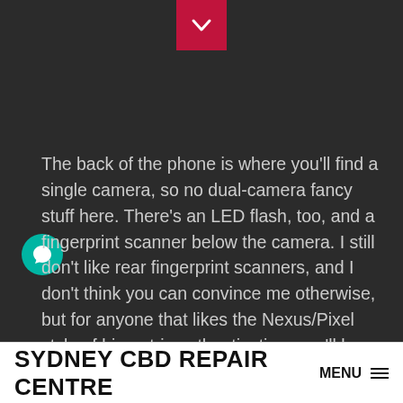[Figure (other): Red chevron/down-arrow button at top center of dark background]
The back of the phone is where you'll find a single camera, so no dual-camera fancy stuff here. There's an LED flash, too, and a fingerprint scanner below the camera. I still don't like rear fingerprint scanners, and I don't think you can convince me otherwise, but for anyone that likes the Nexus/Pixel style of biometric authentication, you'll be pleased.
The phone is, again, made of glass, which is good and bad. It feels like a really sturdy, really premium phone, which is great, but it is pretty heavy and probably won't
SYDNEY CBD REPAIR CENTRE MENU ≡